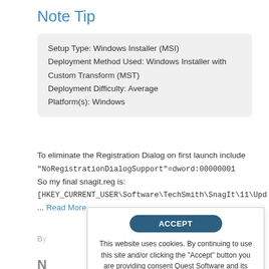Note Tip
Setup Type: Windows Installer (MSI)
Deployment Method Used: Windows Installer with Custom Transform (MST)
Deployment Difficulty: Average
Platform(s): Windows
To eliminate the Registration Dialog on first launch include "NoRegistrationDialogSupport"=dword:00000001 So my final snagit.reg is: [HKEY_CURRENT_USER\Software\TechSmith\SnagIt\11\Upd... Read More
ACCEPT
This website uses cookies. By continuing to use this site and/or clicking the "Accept" button you are providing consent Quest Software and its affiliates do NOT sell the Personal Data you provide to us either when you register on our websites or